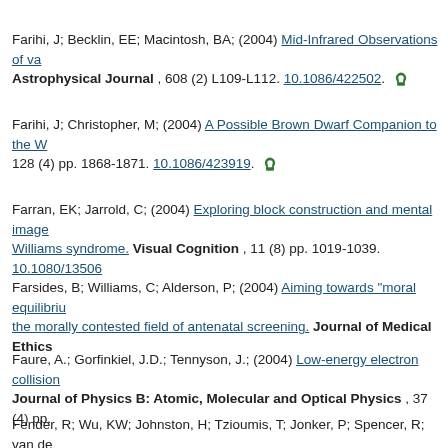Farihi, J; Becklin, EE; Macintosh, BA; (2004) Mid-Infrared Observations of va... Astrophysical Journal , 608 (2) L109-L112. 10.1086/422502.
Farihi, J; Christopher, M; (2004) A Possible Brown Dwarf Companion to the W... 128 (4) pp. 1868-1871. 10.1086/423919.
Farran, EK; Jarrold, C; (2004) Exploring block construction and mental image... Williams syndrome. Visual Cognition , 11 (8) pp. 1019-1039. 10.1080/13506...
Farsides, B; Williams, C; Alderson, P; (2004) Aiming towards "moral equilibri... the morally contested field of antenatal screening. Journal of Medical Ethics...
Faure, A.; Gorfinkiel, J.D.; Tennyson, J.; (2004) Low-energy electron collision... Journal of Physics B: Atomic, Molecular and Optical Physics , 37 (4) pp.
Fender, R; Wu, KW; Johnston, H; Tzioumis, T; Jonker, P; Spencer, R; van de... neutron star accreting gas from a companion. NATURE , 427 (6971) pp. 222-